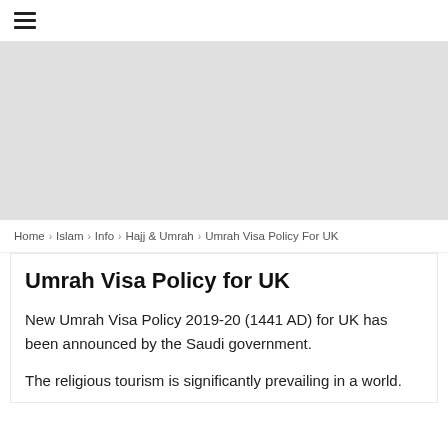☰
[Figure (other): Gray advertisement banner area]
Home › Islam › Info › Hajj & Umrah › Umrah Visa Policy For UK
Umrah Visa Policy for UK
New Umrah Visa Policy 2019-20 (1441 AD) for UK has been announced by the Saudi government.
The religious tourism is significantly prevailing in a world.